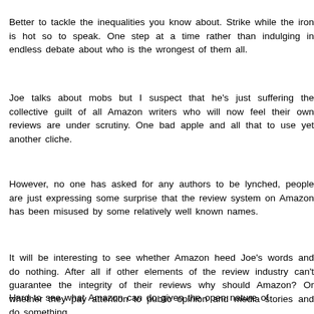Better to tackle the inequalities you know about. Strike while the iron is hot so to speak. One step at a time rather than indulging in endless debate about who is the wrongest of them all.
Joe talks about mobs but I suspect that he's just suffering the collective guilt of all Amazon writers who will now feel their own reviews are under scrutiny. One bad apple and all that to use yet another cliche.
However, no one has asked for any authors to be lynched, people are just expressing some surprise that the review system on Amazon has been misused by some relatively well known names.
It will be interesting to see whether Amazon heed Joe's words and do nothing. After all if other elements of the review industry can't guarantee the integrity of their reviews why should Amazon? Or whether they pay attention to public opinion and media stories and do something.
Hard to see what Amazon can do given the open nature of